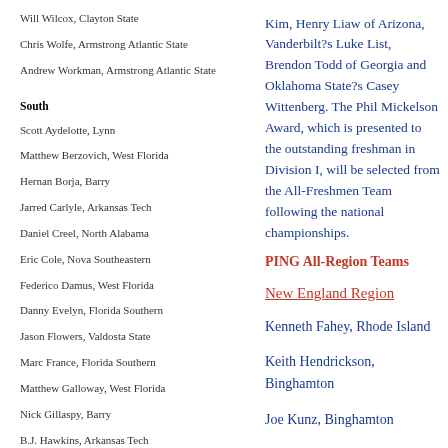Will Wilcox, Clayton State
Chris Wolfe, Armstrong Atlantic State
Andrew Workman, Armstrong Atlantic State
South
Scott Aydelotte, Lynn
Matthew Berzovich, West Florida
Hernan Borja, Barry
Jarred Carlyle, Arkansas Tech
Daniel Creel, North Alabama
Eric Cole, Nova Southeastern
Federico Damus, West Florida
Danny Evelyn, Florida Southern
Jason Flowers, Valdosta State
Marc France, Florida Southern
Matthew Galloway, West Florida
Nick Gillaspy, Barry
B.J. Hawkins, Arkansas Tech
Kim, Henry Liaw of Arizona, Vanderbilt?s Luke List, Brendon Todd of Georgia and Oklahoma State?s Casey Wittenberg. The Phil Mickelson Award, which is presented to the outstanding freshman in Division I, will be selected from the All-Freshmen Team following the national championships.
PING All-Region Teams
New England Region
Kenneth Fahey, Rhode Island
Keith Hendrickson, Binghamton
Joe Kunz, Binghamton